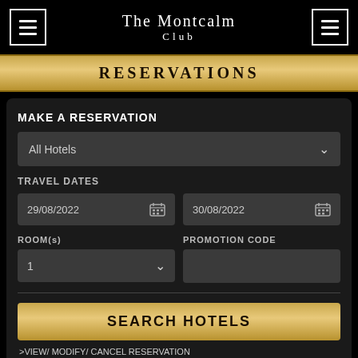The Montcalm Club
RESERVATIONS
MAKE A RESERVATION
All Hotels
TRAVEL DATES
29/08/2022
30/08/2022
ROOM(s)
PROMOTION CODE
1
SEARCH HOTELS
>VIEW/ MODIFY/ CANCEL RESERVATION